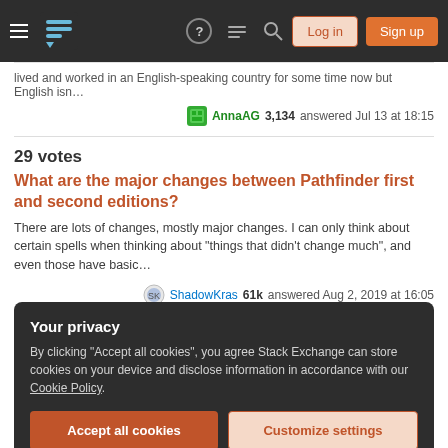Stack Exchange navigation bar with hamburger menu, logo, help, chat, search, Log in, Sign up
lived and worked in an English-speaking country for some time now but English isn…
AnnaAG 3,134 answered Jul 13 at 18:15
29 votes
What are the major changes between Pathfinder first and second editions?
There are lots of changes, mostly major changes. I can only think about certain spells when thinking about "things that didn't change much", and even those have basic…
ShadowKras 61k answered Aug 2, 2019 at 16:05
28 votes
Your privacy
By clicking "Accept all cookies", you agree Stack Exchange can store cookies on your device and disclose information in accordance with our Cookie Policy.
Accept all cookies
Customize settings